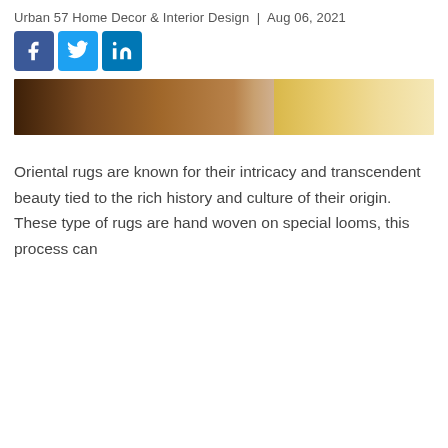Urban 57 Home Decor & Interior Design | Aug 06, 2021
[Figure (other): Social media share buttons: Facebook (blue), Twitter (blue), LinkedIn (blue)]
[Figure (photo): Hero image showing a partial view of an oriental rug with warm brown and golden tones]
Oriental rugs are known for their intricacy and transcendent beauty tied to the rich history and culture of their origin. These type of rugs are hand woven on special looms, this process can